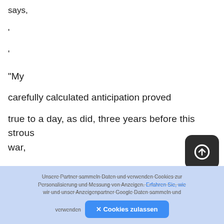says,
'
'
"My carefully calculated anticipation proved true to a day, as did, three years before this strous war,
[Figure (other): Dark rounded square button with an upload/arrow-circle icon]
Unsere Partner sammeln Daten und verwenden Cookies zur Personalisierung und Messung von Anzeigen. Erfahren Sie, wie wir und unser Anzeigenpartner Google Daten sammeln und verwenden ✕ Cookies zulassen